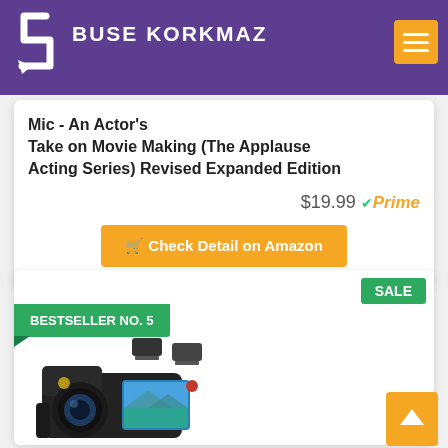BUSE KORKMAZ
Mic - An Actor's Take on Movie Making (The Applause Acting Series) Revised Expanded Edition
$19.99 Prime
Check Detail on Amazon
BESTSELLER NO. 5
SALE
[Figure (photo): Camcorder/video camera with two batteries shown above it]